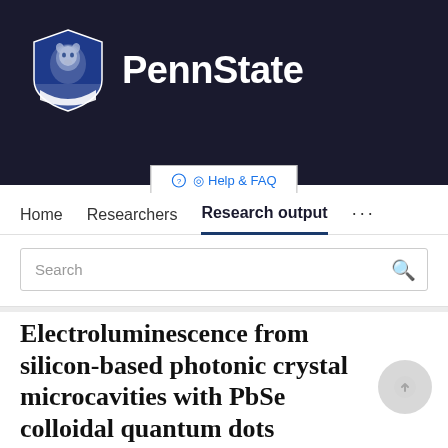[Figure (logo): Penn State university logo with lion mascot shield in blue and white, next to bold white PennState text on dark navy background]
[Figure (screenshot): Help & FAQ button in white box]
Home   Researchers   Research output   ...
Search
Electroluminescence from silicon-based photonic crystal microcavities with PbSe colloidal quantum dots